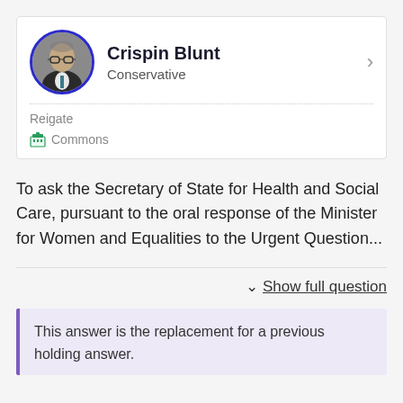[Figure (other): Member profile card for Crispin Blunt, Conservative MP for Reigate, Commons]
To ask the Secretary of State for Health and Social Care, pursuant to the oral response of the Minister for Women and Equalities to the Urgent Question...
Show full question
This answer is the replacement for a previous holding answer.